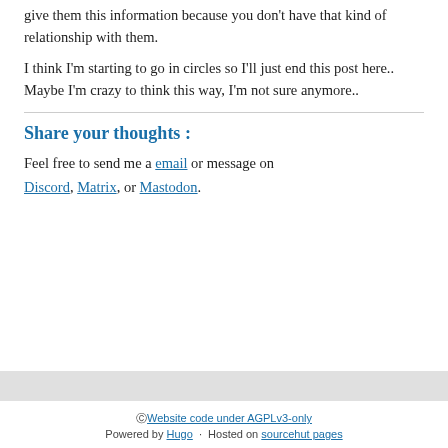give them this information because you don't have that kind of relationship with them.
I think I'm starting to go in circles so I'll just end this post here.. Maybe I'm crazy to think this way, I'm not sure anymore..
Share your thoughts :
Feel free to send me a email or message on Discord, Matrix, or Mastodon.
© Website code under AGPLv3-only
Powered by Hugo · Hosted on sourcehut pages